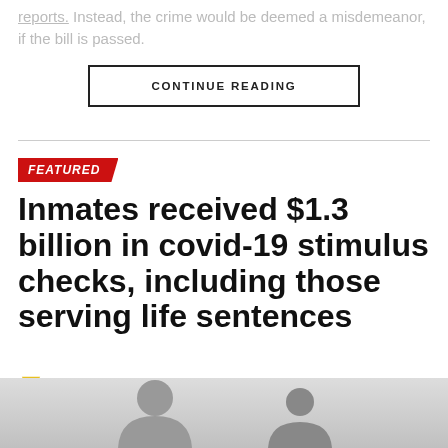reports. Instead, the crime would be deemed a misdemeanor, if the bill is passed.
CONTINUE READING
FEATURED
Inmates received $1.3 billion in covid-19 stimulus checks, including those serving life sentences
Published 3 days ago on September 2, 2022 By Sara Carter Staff
[Figure (photo): Bottom image area showing silhouettes of people in gray tones]